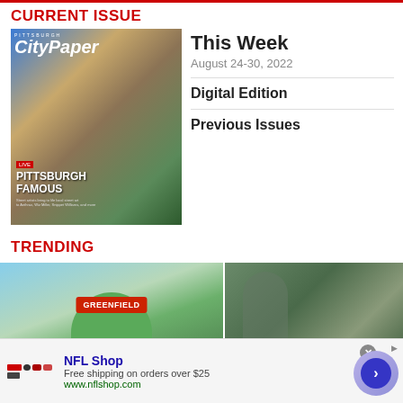CURRENT ISSUE
[Figure (photo): Pittsburgh City Paper magazine cover showing 'PITTSBURGH FAMOUS' with people in front of a mural]
This Week
August 24-30, 2022
Digital Edition
Previous Issues
TRENDING
[Figure (photo): Photo of a green Greenfield silo/tank with Greenfield sign]
[Figure (photo): Photo of a person holding a plastic bag outdoors]
NFL Shop
Free shipping on orders over $25
www.nflshop.com